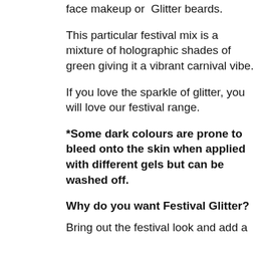face makeup or  Glitter beards.
This particular festival mix is a mixture of holographic shades of green giving it a vibrant carnival vibe.
If you love the sparkle of glitter, you will love our festival range.
*Some dark colours are prone to bleed onto the skin when applied with different gels but can be washed off.
Why do you want Festival Glitter?
Bring out the festival look and add a